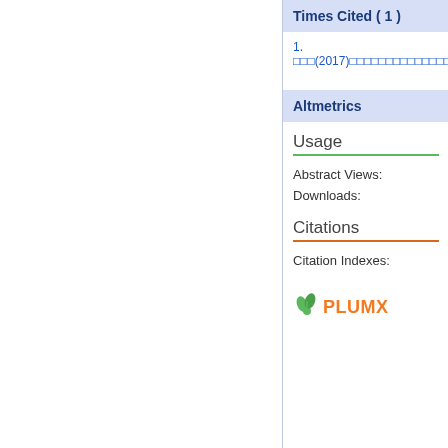Times Cited ( 1 )
1. □□□(2017)□□□□□□□□□□□□□□□
Altmetrics
Usage
Abstract Views:
Downloads:
Citations
Citation Indexes:
[Figure (logo): PlumX logo with orange leaf/plant icon and orange text reading PLUMX]